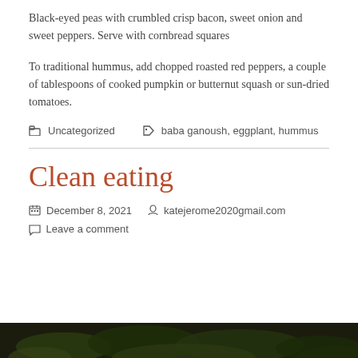Black-eyed peas with crumbled crisp bacon, sweet onion and sweet peppers. Serve with cornbread squares
To traditional hummus, add chopped roasted red peppers, a couple of tablespoons of cooked pumpkin or butternut squash or sun-dried tomatoes.
Uncategorized   baba ganoush, eggplant, hummus
Clean eating
December 8, 2021   katejerome2020gmail.com   Leave a comment
[Figure (photo): Dark green leafy vegetables or plant matter, partially visible at bottom of page]